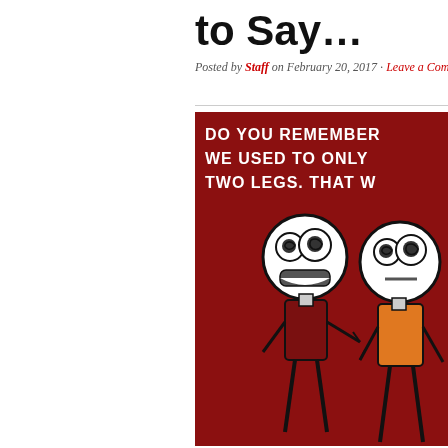to Say...
Posted by Staff on February 20, 2017 · Leave a Comment
[Figure (illustration): Stick figure comic on a dark red background. Two stick figures with large round heads and swirly eyes face each other. The left figure wears a dark shirt and appears to be speaking. The right figure wears an orange/yellow shirt. Text at the top reads: 'DO YOU REMEMBER WE USED TO ONLY TWO LEGS. THAT W']